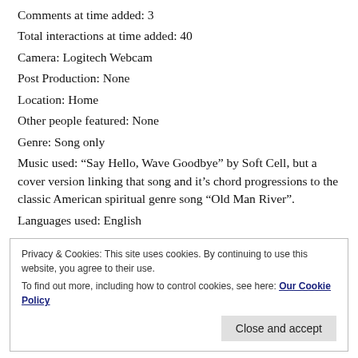Comments at time added: 3
Total interactions at time added: 40
Camera: Logitech Webcam
Post Production: None
Location: Home
Other people featured: None
Genre: Song only
Music used: “Say Hello, Wave Goodbye” by Soft Cell, but a cover version linking that song and it’s chord progressions to the classic American spiritual genre song “Old Man River”.
Languages used: English
Privacy & Cookies: This site uses cookies. By continuing to use this website, you agree to their use.
To find out more, including how to control cookies, see here: Our Cookie Policy